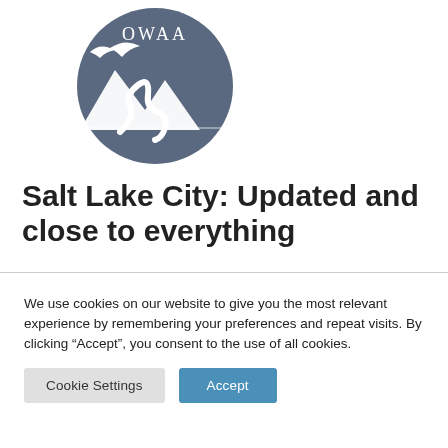[Figure (logo): OWAA circular logo with dark blue-grey background showing mountains, a river/path, and a bird silhouette with the text OWAA at the top]
Salt Lake City: Updated and close to everything
We use cookies on our website to give you the most relevant experience by remembering your preferences and repeat visits. By clicking “Accept”, you consent to the use of all cookies.
Cookie Settings | Accept